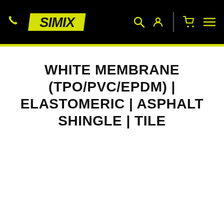[Figure (logo): SIMIX brand navigation header bar with black background, yellow phone icon on left, SIMIX logo in yellow stylized text in center-left, and yellow icons for search, user account, shopping cart, and hamburger menu on the right. A yellow accent line runs below the header.]
WHITE MEMBRANE (TPO/PVC/EPDM) | ELASTOMERIC | ASPHALT SHINGLE | TILE